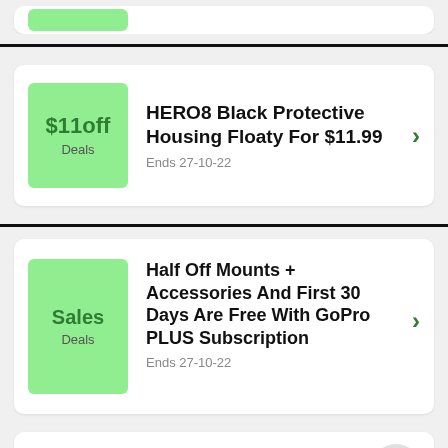[Figure (other): Partial green badge from previous card, cut off at top]
HERO8 Black Protective Housing Floaty For $11.99 | $11off Deals | Ends 27-10-22
Half Off Mounts + Accessories And First 30 Days Are Free With GoPro PLUS Subscription | Sales Deals | Ends 27-10-22
Free SD Card With Every Camera | Ends 23-8-22